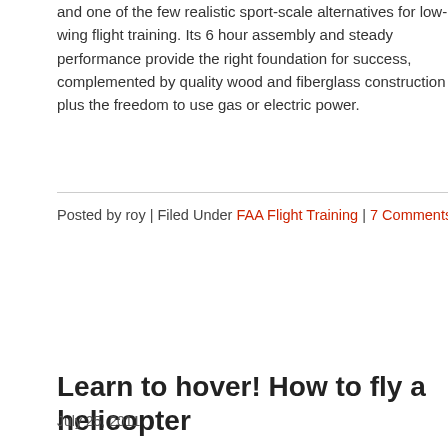and one of the few realistic sport-scale alternatives for low-wing flight training. Its 6 hour assembly and steady performance provide the right foundation for success, complemented by quality wood and fiberglass construction plus the freedom to use gas or electric power.
Posted by roy | Filed Under FAA Flight Training | 7 Comments
Learn to hover! How to fly a helicopter
July 25, 2011